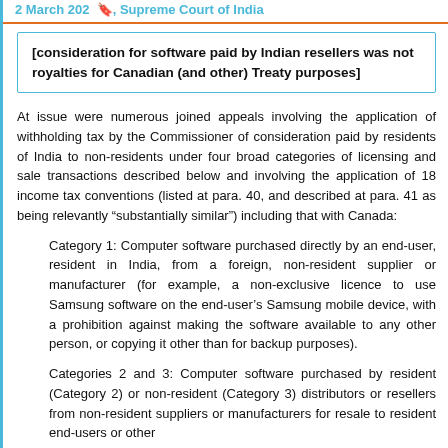2 March 202 , Supreme Court of India
[consideration for software paid by Indian resellers was not royalties for Canadian (and other) Treaty purposes]
At issue were numerous joined appeals involving the application of withholding tax by the Commissioner of consideration paid by residents of India to non-residents under four broad categories of licensing and sale transactions described below and involving the application of 18 income tax conventions (listed at para. 40, and described at para. 41 as being relevantly “substantially similar”) including that with Canada:
Category 1: Computer software purchased directly by an end-user, resident in India, from a foreign, non-resident supplier or manufacturer (for example, a non-exclusive licence to use Samsung software on the end-user’s Samsung mobile device, with a prohibition against making the software available to any other person, or copying it other than for backup purposes).
Categories 2 and 3: Computer software purchased by resident (Category 2) or non-resident (Category 3) distributors or resellers from non-resident suppliers or manufacturers for resale to resident end-users or other